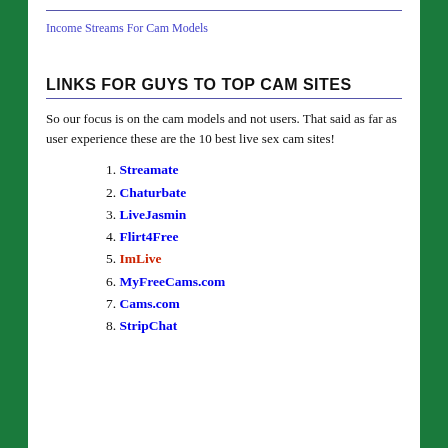Income Streams For Cam Models
LINKS FOR GUYS TO TOP CAM SITES
So our focus is on the cam models and not users. That said as far as user experience these are the 10 best live sex cam sites!
1. Streamate
2. Chaturbate
3. LiveJasmin
4. Flirt4Free
5. ImLive
6. MyFreeCams.com
7. Cams.com
8. StripChat